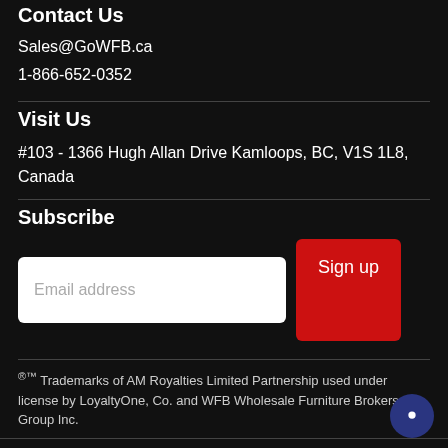Contact Us
Sales@GoWFB.ca
1-866-652-0352
Visit Us
#103 - 1366 Hugh Allan Drive Kamloops, BC, V1S 1L8, Canada
Subscribe
Email address [input field] Sign up [button]
®™ Trademarks of AM Royalties Limited Partnership used under license by LoyaltyOne, Co. and WFB Wholesale Furniture Brokers Group Inc.